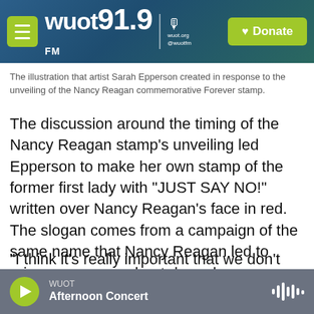WUOT 91.9 FM | wuot.org @wuotfm | Donate
The illustration that artist Sarah Epperson created in response to the unveiling of the Nancy Reagan commemorative Forever stamp.
The discussion around the timing of the Nancy Reagan stamp's unveiling led Epperson to make her own stamp of the former first lady with "JUST SAY NO!" written over Nancy Reagan's face in red. The slogan comes from a campaign of the same name that Nancy Reagan led to raise awareness about drug abuse.
"I think it's really important that we don't just whitewash history and allow it to continuously be
WUOT | Afternoon Concert